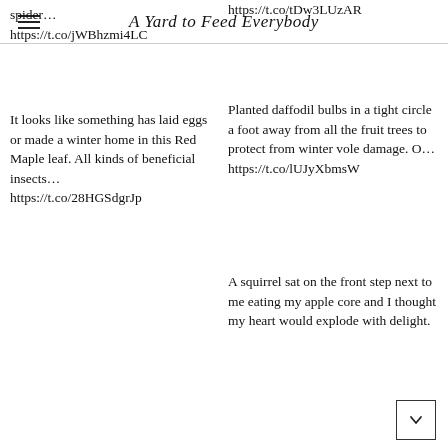A Yard to Feed Everybody
spider…
https://t.co/jWBhzmi4LC
https://t.co/tDw3LUzAR
It looks like something has laid eggs or made a winter home in this Red Maple leaf. All kinds of beneficial insects…
https://t.co/28HGSdgrJp
Planted daffodil bulbs in a tight circle a foot away from all the fruit trees to protect from winter vole damage. O…
https://t.co/lUJyXbmsW
A squirrel sat on the front step next to me eating my apple core and I thought my heart would explode with delight.